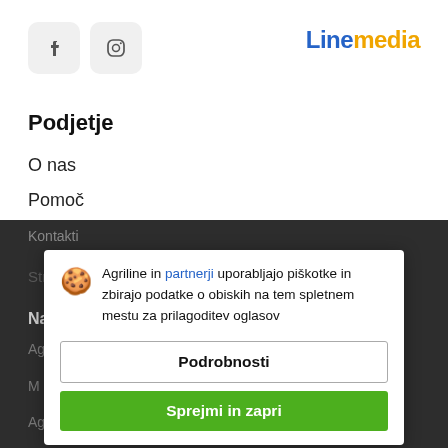[Figure (logo): Facebook and Instagram social media icons as rounded square buttons]
[Figure (logo): Linemedia logo with 'Line' in blue and 'media' in yellow/orange]
Podjetje
O nas
Pomoč
Kontakti
Naši projekti
Agriline in partnerji uporabljajo piškotke in zbirajo podatke o obiskih na tem spletnem mestu za prilagoditev oglasov
Podrobnosti
Sprejmi in zapri